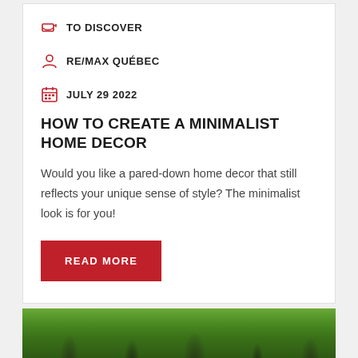TO DISCOVER
RE/MAX QUÉBEC
JULY 29 2022
HOW TO CREATE A MINIMALIST HOME DECOR
Would you like a pared-down home decor that still reflects your unique sense of style? The minimalist look is for you!
READ MORE
[Figure (photo): Green forest trees viewed from below, lush foliage]